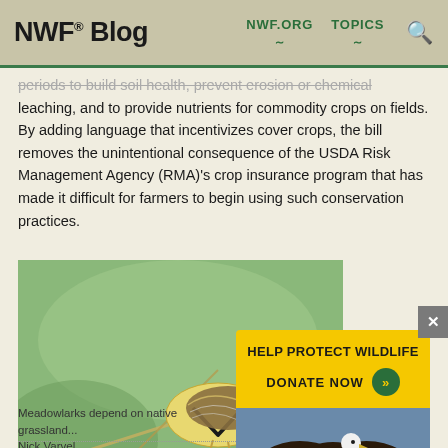NWF® Blog  NWF.ORG  TOPICS
periods to build soil health, prevent erosion or chemical leaching, and to provide nutrients for commodity crops on fields. By adding language that incentivizes cover crops, the bill removes the unintentional consequence of the USDA Risk Management Agency (RMA)'s crop insurance program that has made it difficult for farmers to begin using such conservation practices.
[Figure (photo): A meadowlark bird perched on a branch against a blurred green grassland background]
[Figure (infographic): Yellow overlay box with text 'HELP PROTECT WILDLIFE' and 'DONATE NOW' button with green arrow icon, followed by a photo of an eagle landing on water]
Meadowlarks depend on native grassland...
Nick Varvel